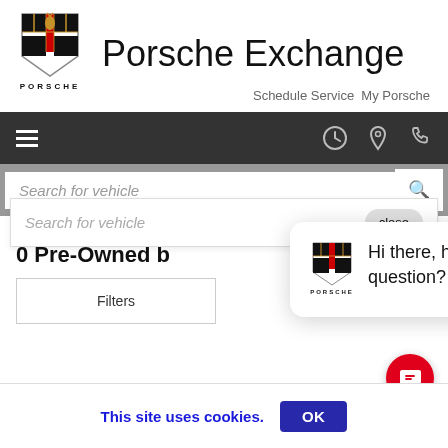[Figure (screenshot): Porsche Exchange dealership website screenshot showing header with Porsche logo and shield, navigation bar, search fields, pre-owned vehicle section, chat popup saying 'Hi there, have a question? Text us here.', and cookie consent banner.]
Porsche Exchange
Schedule Service  My Porsche
Search for vehicle
Search for vehicle
close
0 Pre-Owned b
Filters
Hi there, have a question? Text us here.
This site uses cookies.
OK